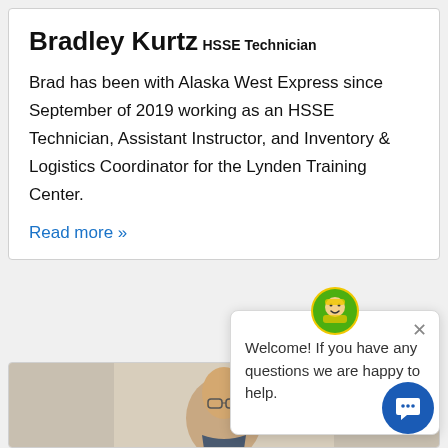Bradley Kurtz
HSSE Technician
Brad has been with Alaska West Express since September of 2019 working as an HSSE Technician, Assistant Instructor, and Inventory & Logistics Coordinator for the Lynden Training Center.
Read more »
Welcome! If you have any questions we are happy to help.
[Figure (photo): Portrait photo of a man wearing glasses, partially visible at the bottom of the page]